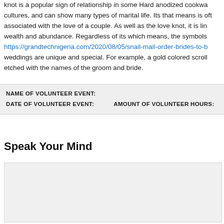knot is a popular sign of relationship in some Hard anodized cookware cultures, and can show many types of marital life. Its that means is often associated with the love of a couple. As well as the love knot, it is linked wealth and abundance. Regardless of its which means, the symbols https://grandtechnigeria.com/2020/08/05/snail-mail-order-brides-to-b weddings are unique and special. For example, a gold colored scroll can be etched with the names of the groom and bride.
| NAME OF VOLUNTEER EVENT: |
| DATE OF VOLUNTEER EVENT: | AMOUNT OF VOLUNTEER HOURS: |
Speak Your Mind
[Figure (other): Comment text area input box with light gray background]